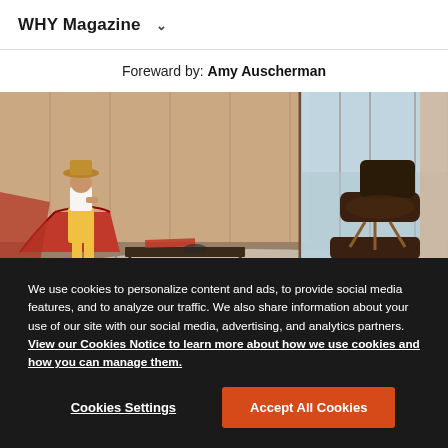WHY Magazine ▾
Foreward by: Amy Auscherman
[Figure (photo): Mid-century modern interior scene with a woman in a yellow outfit and hat sitting in a red Coconut Chair, an Eames Lounge Chair visible on the right, large floor-to-ceiling windows, warm wood paneling, and a low coffee table with magazines on a light rug.]
We use cookies to personalize content and ads, to provide social media features, and to analyze our traffic. We also share information about your use of our site with our social media, advertising, and analytics partners. View our Cookies Notice to learn more about how we use cookies and how you can manage them.
Cookies Settings
Accept All Cookies